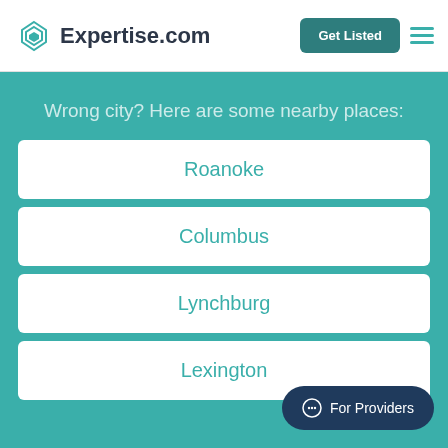Expertise.com — Get Listed
Wrong city? Here are some nearby places:
Roanoke
Columbus
Lynchburg
Lexington
For Providers